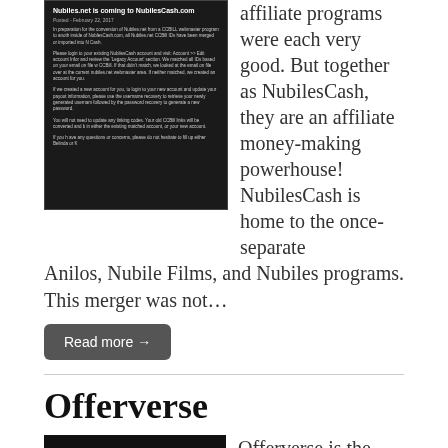[Figure (screenshot): Screenshot of NubilesCash.com announcement page with dark background, titled 'Nubiles.net is coming to NubilescCash.com']
affiliate programs were each very good. But together as NubilesCash, they are an affiliate money-making powerhouse! NubilesCash is home to the once-separate Anilos, Nubile Films, and Nubiles programs. This merger was not…
Read more →
Offerverse
[Figure (screenshot): Screenshot of Offerverse website with dark navigation bar showing OFFERS, TOOLS, SUPPORT, and LOG-IN options, with colorful banner below]
Offerverse is the